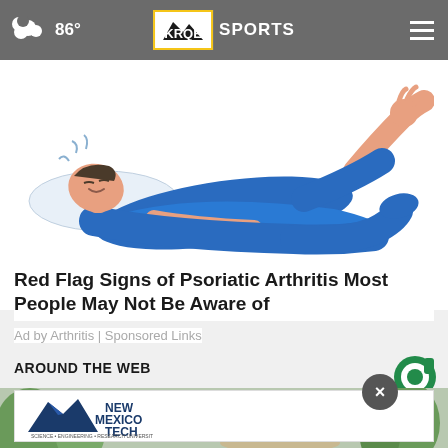86° KRQE SPORTS
[Figure (illustration): Illustration of a person lying down in blue clothing, showing discomfort or pain, representing psoriatic arthritis symptoms]
Red Flag Signs of Psoriatic Arthritis Most People May Not Be Aware of
Ad by Arthritis | Sponsored Links
AROUND THE WEB
[Figure (logo): Taboola logo - circular green and white logo]
[Figure (photo): Photo of students walking on a campus, with New Mexico Tech advertisement banner overlay]
[Figure (logo): New Mexico Tech - Science Engineering Research University advertisement banner]